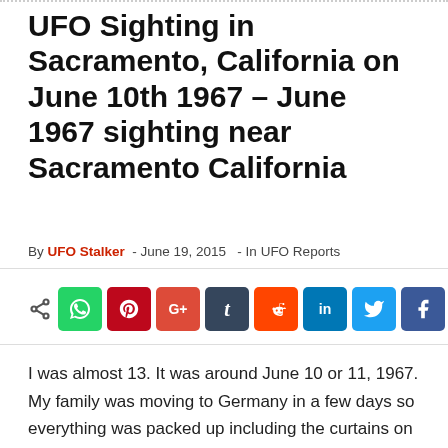UFO Sighting in Sacramento, California on June 10th 1967 – June 1967 sighting near Sacramento California
By UFO Stalker - June 19, 2015 - In UFO Reports
[Figure (infographic): Social media share buttons row: share icon, WhatsApp, Pinterest, Google+, Tumblr, Reddit, LinkedIn, Twitter, Facebook]
I was almost 13. It was around June 10 or 11, 1967. My family was moving to Germany in a few days so everything was packed up including the curtains on the windows. We were living on the edge of base housing near an Air Force base in the Sacramento, California area. Behind our house was